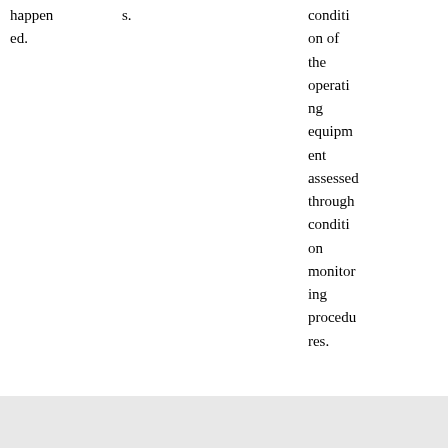| happened. | s. |  | condition of the operating equipment assessed through condition monitoring procedures. |